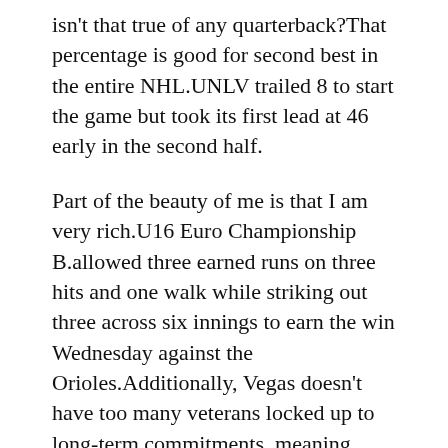isn't that true of any quarterback?That percentage is good for second best in the entire NHL.UNLV trailed 8 to start the game but took its first lead at 46 early in the second half.
Part of the beauty of me is that I am very rich.U16 Euro Championship B.allowed three earned runs on three hits and one walk while striking out three across six innings to earn the win Wednesday against the Orioles.Additionally, Vegas doesn't have too many veterans locked up to long-term commitments, meaning there will be more opportunities for the younger players with each passing year.But your options about where to have your baby will depend on your needs, risks and to a great extent, your